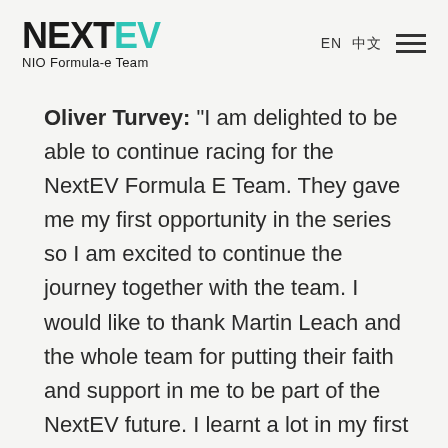NEXTEV NIO Formula-e Team | EN | 中文
Oliver Turvey: “I am delighted to be able to continue racing for the NextEV Formula E Team. They gave me my first opportunity in the series so I am excited to continue the journey together with the team. I would like to thank Martin Leach and the whole team for putting their faith and support in me to be part of the NextEV future. I learnt a lot in my first full season and have taken this experience into the summer testing to work with the team